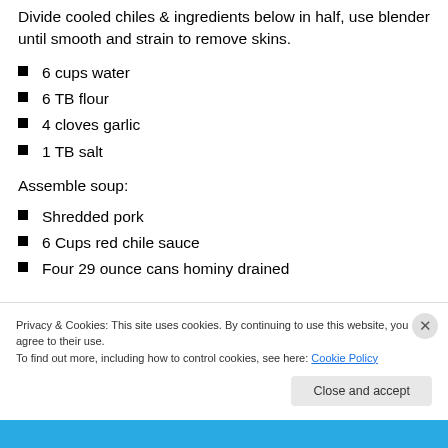Divide cooled chiles & ingredients below in half, use blender until smooth and strain to remove skins.
6 cups water
6 TB flour
4 cloves garlic
1 TB salt
Assemble soup:
Shredded pork
6 Cups red chile sauce
Four 29 ounce cans hominy drained
Privacy & Cookies: This site uses cookies. By continuing to use this website, you agree to their use.
To find out more, including how to control cookies, see here: Cookie Policy